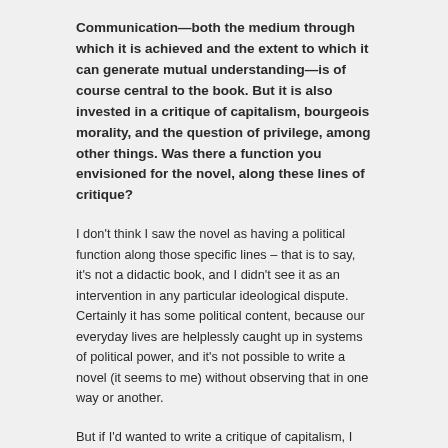Communication—both the medium through which it is achieved and the extent to which it can generate mutual understanding—is of course central to the book. But it is also invested in a critique of capitalism, bourgeois morality, and the question of privilege, among other things. Was there a function you envisioned for the novel, along these lines of critique?
I don't think I saw the novel as having a political function along those specific lines – that is to say, it's not a didactic book, and I didn't see it as an intervention in any particular ideological dispute. Certainly it has some political content, because our everyday lives are helplessly caught up in systems of political power, and it's not possible to write a novel (it seems to me) without observing that in one way or another.
But if I'd wanted to write a critique of capitalism, I